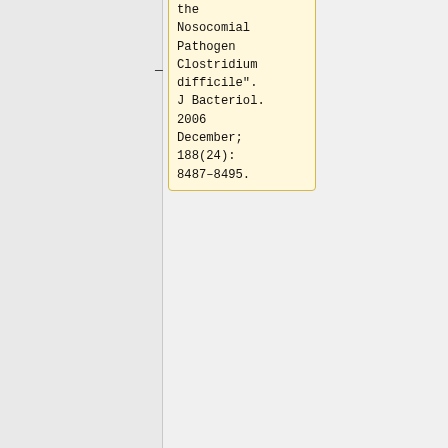the Nosocomial Pathogen Clostridium difficile". J Bacteriol. 2006 December; 188(24): 8487-8495.
Reineke, J., Tenzer, S., Rupnik, M., Koschinksi, A., Hasselmeyer, O., Schrattenholz, A.,
(13)Rao, A., Jump, R., Pultz, N., Pultz, M., Donskey, C. "In vitro killing of nosocomial pathogens by